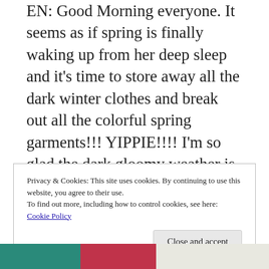EN: Good Morning everyone. It seems as if spring is finally waking up from her deep sleep and it's time to store away all the dark winter clothes and break out all the colorful spring garments!!! YIPPIE!!!! I'm so glad the dark gloomy weather is nearly over, this must have been the longest winter ever (I'm pretty sure I will be saying that again next year...) But before I start making plans for all the things I'd like to make in the warmer months, I thought I write a summary of all the things I made in the first quarter of 2018, so without further ado:
Privacy & Cookies: This site uses cookies. By continuing to use this website, you agree to their use.
To find out more, including how to control cookies, see here: Cookie Policy
Close and accept
[Figure (photo): Bottom strip showing fabric or textile in teal/green, red/pink, and light gray colors]